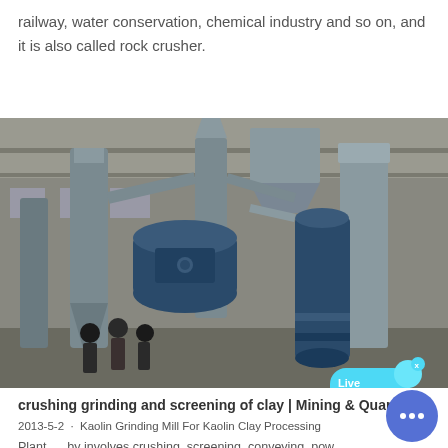railway, water conservation, chemical industry and so on, and it is also called rock crusher.
[Figure (photo): Industrial grinding mill equipment inside a large warehouse, showing large blue cylindrical mills, duct systems, cyclone separators, and workers standing nearby.]
crushing grinding and screening of clay | Mining & Quarry ...
2013-5-2  ·  Kaolin Grinding Mill For Kaolin Clay Processing Plant. ... by involves crushing, screening, conveying, pow pulverizing. The kaolin particle ... crushing and screeni